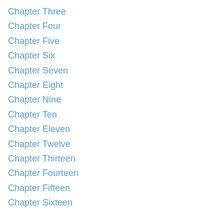Chapter Three
Chapter Four
Chapter Five
Chapter Six
Chapter Seven
Chapter Eight
Chapter Nine
Chapter Ten
Chapter Eleven
Chapter Twelve
Chapter Thirteen
Chapter Fourteen
Chapter Fifteen
Chapter Sixteen